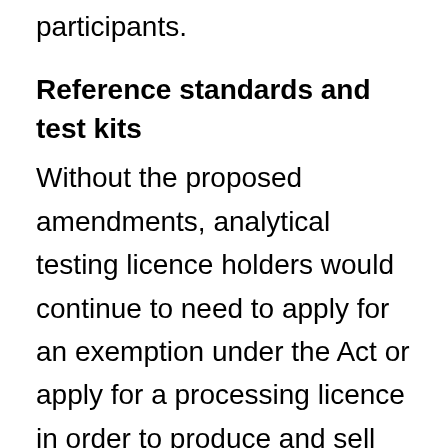participants.
Reference standards and test kits
Without the proposed amendments, analytical testing licence holders would continue to need to apply for an exemption under the Act or apply for a processing licence in order to produce and sell reference standards. The proposed amendments would allow analytical testing licence holders to undertake those activities without going through those processes. They would benefit from avoiding the costs associated with getting a processing licence. For example, they would not need to pay for the application and additional capacity it